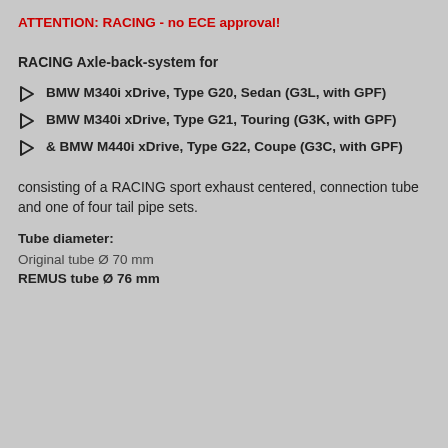ATTENTION: RACING - no ECE approval!
RACING Axle-back-system for
BMW M340i xDrive, Type G20, Sedan (G3L, with GPF)
BMW M340i xDrive, Type G21, Touring (G3K, with GPF)
& BMW M440i xDrive, Type G22, Coupe (G3C, with GPF)
consisting of a RACING sport exhaust centered, connection tube and one of four tail pipe sets.
Tube diameter:
Original tube Ø 70 mm
REMUS tube Ø 76 mm